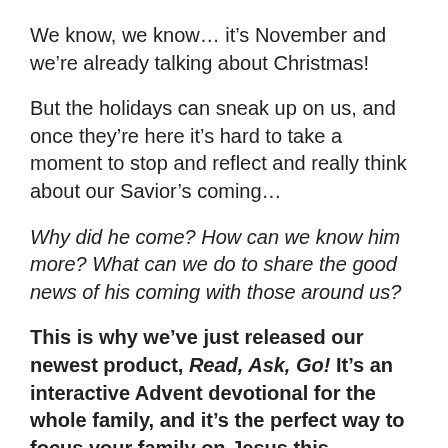We know, we know… it's November and we're already talking about Christmas!
But the holidays can sneak up on us, and once they're here it's hard to take a moment to stop and reflect and really think about our Savior's coming…
Why did he come? How can we know him more? What can we do to share the good news of his coming with those around us?
This is why we've just released our newest product, Read, Ask, Go! It's an interactive Advent devotional for the whole family, and it's the perfect way to focus your family on Jesus this Christmas.